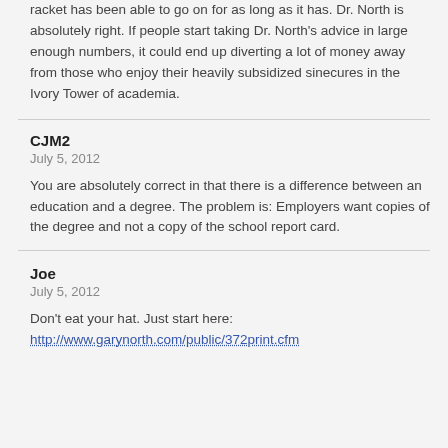racket has been able to go on for as long as it has. Dr. North is absolutely right. If people start taking Dr. North's advice in large enough numbers, it could end up diverting a lot of money away from those who enjoy their heavily subsidized sinecures in the Ivory Tower of academia.
CJM2
July 5, 2012
You are absolutely correct in that there is a difference between an education and a degree. The problem is: Employers want copies of the degree and not a copy of the school report card.
Joe
July 5, 2012
Don't eat your hat. Just start here: http://www.garynorth.com/public/372print.cfm